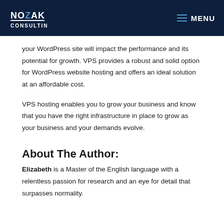NOZAK CONSULTING | MENU
your WordPress site will impact the performance and its potential for growth. VPS provides a robust and solid option for WordPress website hosting and offers an ideal solution at an affordable cost.
VPS hosting enables you to grow your business and know that you have the right infrastructure in place to grow as your business and your demands evolve.
About The Author:
Elizabeth is a Master of the English language with a relentless passion for research and an eye for detail that surpasses normality.